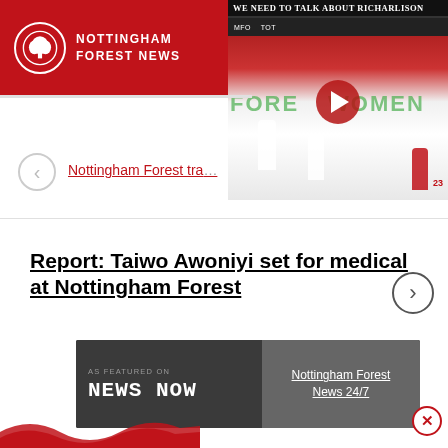NOTTINGHAM FOREST NEWS
[Figure (screenshot): Video thumbnail with title 'WE NEED TO TALK ABOUT RICHARLISON' showing a soccer match scene with a play button overlay]
Nottingham Forest tra...
Report: Taiwo Awoniyi set for medical at Nottingham Forest
[Figure (infographic): Advertisement banner: AS FEATURED ON NEWS NOW | Nottingham Forest News 24/7]